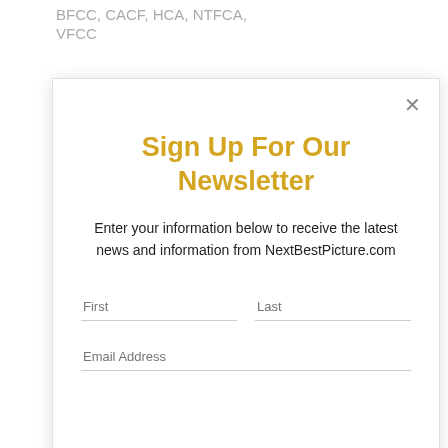BFCC, CACF, HCA, NTFCA, VFCC
[Figure (screenshot): Newsletter signup modal popup with title 'Sign Up For Our Newsletter', subtitle text, First/Last name fields, Email Address field, and a yellow Subscribe button. An X close button appears in the top right.]
Shaka King - NAACP
Lin-Manuel Miranda - DFCS